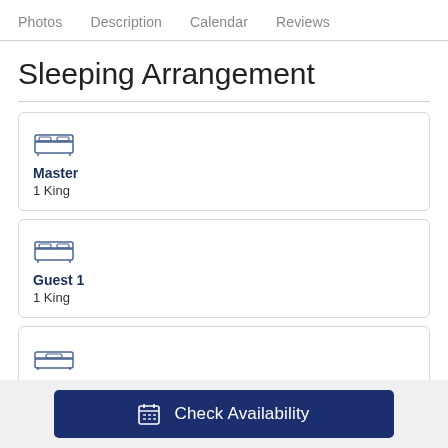Photos   Description   Calendar   Reviews
Sleeping Arrangement
Master
1 King
Guest 1
1 King
(third room, partially visible)
Check Availability